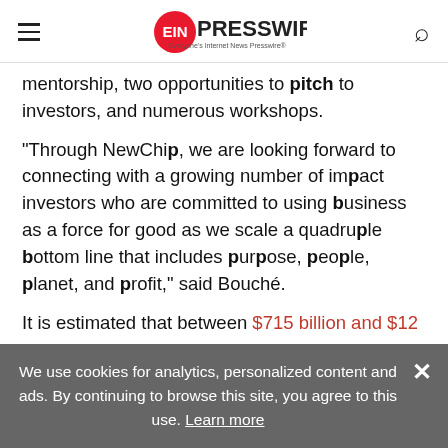EIN PRESSWIRE — Everyone's Internet News Presswire
mentorship, two opportunities to pitch to investors, and numerous workshops.
"Through NewChip, we are looking forward to connecting with a growing number of impact investors who are committed to using business as a force for good as we scale a quadruple bottom line that includes purpose, people, planet, and profit," said Bouché.
It is estimated that between $715 billion and $12…
We use cookies for analytics, personalized content and ads. By continuing to browse this site, you agree to this use. Learn more